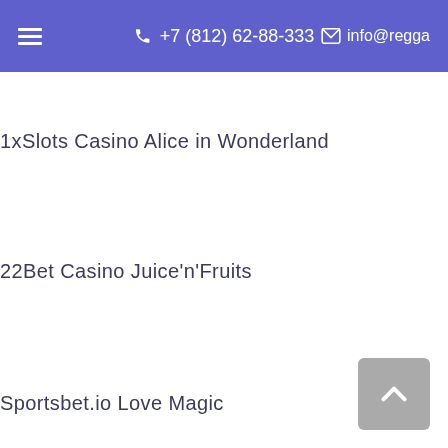+7 (812) 62-88-333   info@regga
1xSlots Casino Alice in Wonderland
22Bet Casino Juice'n'Fruits
Sportsbet.io Love Magic
CryptoGames Romeo